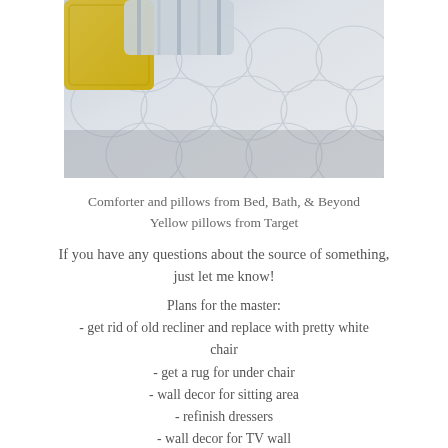[Figure (photo): Close-up photo of a white quilted comforter with circular pattern and yellow and striped pillows visible in the upper left corner]
Comforter and pillows from Bed, Bath, & Beyond
Yellow pillows from Target
If you have any questions about the source of something, just let me know!
Plans for the master:
- get rid of old recliner and replace with pretty white chair
- get a rug for under chair
- wall decor for sitting area
- refinish dressers
- wall decor for TV wall